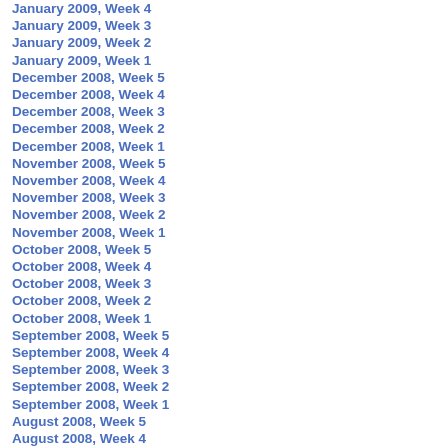January 2009, Week 4
January 2009, Week 3
January 2009, Week 2
January 2009, Week 1
December 2008, Week 5
December 2008, Week 4
December 2008, Week 3
December 2008, Week 2
December 2008, Week 1
November 2008, Week 5
November 2008, Week 4
November 2008, Week 3
November 2008, Week 2
November 2008, Week 1
October 2008, Week 5
October 2008, Week 4
October 2008, Week 3
October 2008, Week 2
October 2008, Week 1
September 2008, Week 5
September 2008, Week 4
September 2008, Week 3
September 2008, Week 2
September 2008, Week 1
August 2008, Week 5
August 2008, Week 4
August 2008, Week 3
August 2008, Week 2
August 2008, Week 1
July 2008, Week 5